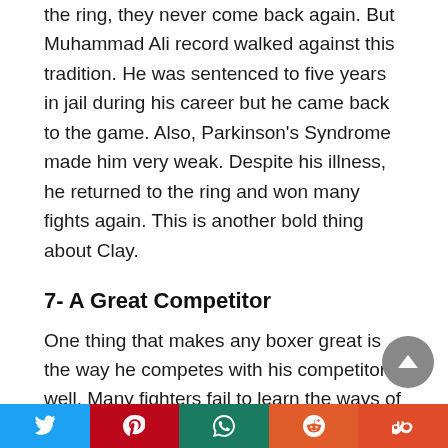the ring, they never come back again. But Muhammad Ali record walked against this tradition. He was sentenced to five years in jail during his career but he came back to the game. Also, Parkinson's Syndrome made him very weak. Despite his illness, he returned to the ring and won many fights again. This is another bold thing about Clay.
7- A Great Competitor
One thing that makes any boxer great is the way he competes with his competitors well. Many fighters fail to learn the ways of defending. Ali was different from all those who failed to defend their